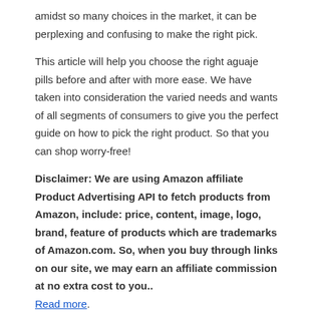amidst so many choices in the market, it can be perplexing and confusing to make the right pick.
This article will help you choose the right aguaje pills before and after with more ease. We have taken into consideration the varied needs and wants of all segments of consumers to give you the perfect guide on how to pick the right product. So that you can shop worry-free!
Disclaimer: We are using Amazon affiliate Product Advertising API to fetch products from Amazon, include: price, content, image, logo, brand, feature of products which are trademarks of Amazon.com. So, when you buy through links on our site, we may earn an affiliate commission at no extra cost to you.. Read more.
| # | Preview | Product | Score |  |
| --- | --- | --- | --- | --- |